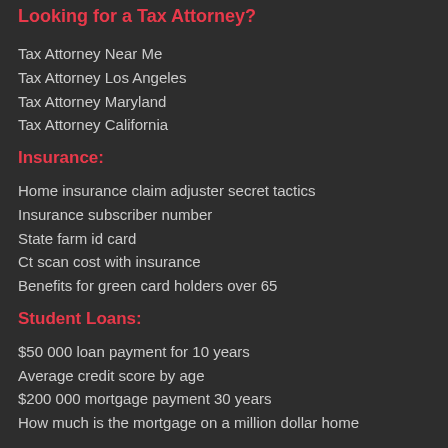Looking for a Tax Attorney?
Tax Attorney Near Me
Tax Attorney Los Angeles
Tax Attorney Maryland
Tax Attorney California
Insurance:
Home insurance claim adjuster secret tactics
Insurance subscriber number
State farm id card
Ct scan cost with insurance
Benefits for green card holders over 65
Student Loans:
$50 000 loan payment for 10 years
Average credit score by age
$200 000 mortgage payment 30 years
How much is the mortgage on a million dollar home